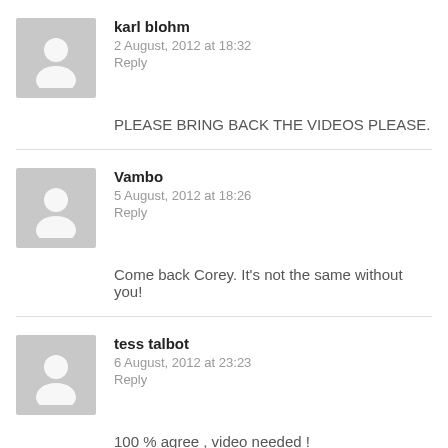[Figure (illustration): Generic user avatar placeholder (grey silhouette of a person on grey background) for karl blohm]
karl blohm
2 August, 2012 at 18:32
Reply
PLEASE BRING BACK THE VIDEOS PLEASE.
[Figure (illustration): Generic user avatar placeholder (grey silhouette of a person on grey background) for Vambo]
Vambo
5 August, 2012 at 18:26
Reply
Come back Corey. It's not the same without you!
[Figure (illustration): Generic user avatar placeholder (grey silhouette of a person on grey background) for tess talbot]
tess talbot
6 August, 2012 at 23:23
Reply
100 % agree , video needed !